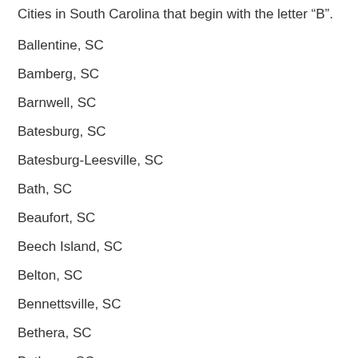Cities in South Carolina that begin with the letter “B”.
Ballentine, SC
Bamberg, SC
Barnwell, SC
Batesburg, SC
Batesburg-Leesville, SC
Bath, SC
Beaufort, SC
Beech Island, SC
Belton, SC
Bennettsville, SC
Bethera, SC
Bethune, SC
Bishopville, SC
Blacksburg, SC
Blackstock, SC
Blackville, SC
Blair, SC